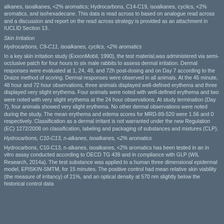alkanes, isoalkanes, <2% aromatics; Hydrocarbons, C14-C19, isoalkanes, cyclics, <2% aromatics, and isohexadecane. This data is read across to based on analogue read across and a discussion and report on the read across strategy is provided as an attachment in IUCLID Section 13.
Skin Irritation
Hydrocarbons, C9-C11, isoalkanes, cyclics, <2% aromatics
In a key skin irritation study (ExxonMobil, 1990), the test material was administered via semi-occlusive patch for four hours to six male rabbits to assess dermal irritation. Dermal responses were evaluated at 1, 24, 48, and 72h post-dosing and on Day 7 according to the Draize method of scoring. Dermal responses were observed in all animals. At the 45 minute, 48 hour and 72 hour observations, three animals displayed well-defined erythema and three displayed very slight erythema. Four animals were noted with well-defined erythema and two were noted with very slight erythema at the 24 hour observations. At study termination (Day 7), four animals showed very slight erythema. No other dermal observations were noted during the study. The mean erythema and edema scores for MRD-89-520 were 1.56 and 0 respectively. Classification as a dermal irritant is not warranted under the new Regulation (EC) 1272/2008 on classification, labeling and packaging of substances and mixtures (CLP).
Hydrocarbons, C10-C13, n-alkanes, isoalkanes, <2% aromatics
Hydrocarbons, C10-C13, n-alkanes, isoalkanes, <2% aromatics has been tested in an in vitro assay conducted according to OECD TG 439 and in compliance with GLP (WIL Research, 2014a). The test substance was applied to a human three dimensional epidermal model, EPISKIN-SMTM, for 15 minutes. The positive control had mean relative skin viability (the measure of irritancy) of 21%, and an optical density at 570 nm slightly below the historical control data